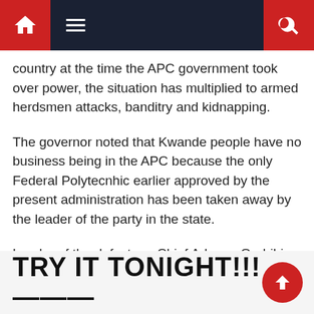Navigation bar with home, menu, and search icons
country at the time the APC government took over power, the situation has multiplied to armed herdsmen attacks, banditry and kidnapping.
The governor noted that Kwande people have no business being in the APC because the only Federal Polytecnhic earlier approved by the present administration has been taken away by the leader of the party in the state.
Leader of the defectors, Chief Adzape-Orubibi said that her major reason for dumping the APC was that it had failed to tackle insecurity in the country.
TRY IT TONIGHT!!! ——